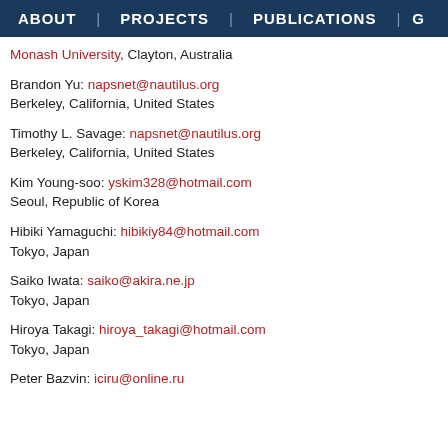ABOUT | PROJECTS | PUBLICATIONS | G
Monash University, Clayton, Australia
Brandon Yu: napsnet@nautilus.org
Berkeley, California, United States
Timothy L. Savage: napsnet@nautilus.org
Berkeley, California, United States
Kim Young-soo: yskim328@hotmail.com
Seoul, Republic of Korea
Hibiki Yamaguchi: hibikiy84@hotmail.com
Tokyo, Japan
Saiko Iwata: saiko@akira.ne.jp
Tokyo, Japan
Hiroya Takagi: hiroya_takagi@hotmail.com
Tokyo, Japan
Peter Bazvin: iciru@online.ru